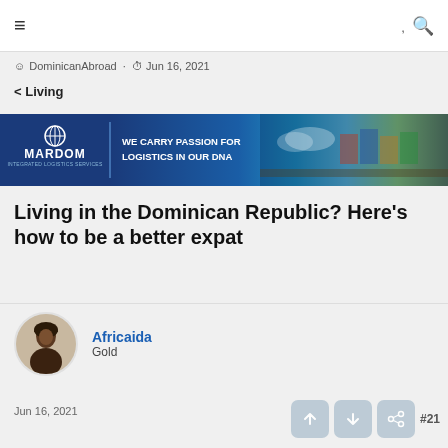≡   ,  🔍
DominicanAbroad · Jun 16, 2021
< Living
[Figure (other): MARDOM logistics advertisement banner: dark blue background with MARDOM logo and globe icon on left, tagline 'WE CARRY PASSION FOR LOGISTICS IN OUR DNA' in white text, right side shows aerial photo of port/logistics infrastructure]
Living in the Dominican Republic? Here's how to be a better expat
Africaida
Gold
Jun 16, 2021